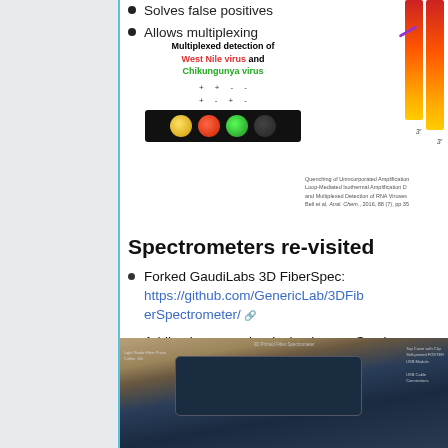Solves false positives
Allows multiplexing
[Figure (photo): Multiplexed detection image showing West Nile virus and Chikungunya virus detection with colored fluorescent dots on dark background, plus color gradient bars on right side]
Quenching of Unincorporated Amplification Loop-Mediated Isothermal Amplification D and Multiplexed Detection of RNA Viruses Bell et al, Anal. Chem., 2016, 88 (7), pp 35
Spectrometers re-visited
Forked GaudiLabs 3D FiberSpec: https://github.com/GenericLab/3DFiberSpectrometer/
Adding logos, and redesign in openScad
[Figure (photo): Photo of an open 3D printed spectrometer device on a table with components visible inside]